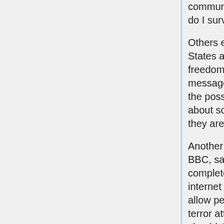communication tool. Without Google, how do I survive?"
Others expressed distrust of the United States and its calls for greater Internet freedom in China. One post on a message board read: "We can't rule out the possibility of the Americans thinking about some vicious tricks again, but what they are saying is true."
Another Chinese citizen e-mailed the BBC, saying, "I don't think there is complete freedom of access to the internet even in [the] US. Does America allow people to publish propaganda for terror attacks against them? So why should China lift its control on content which harms the national safety? …Why should we listen to lectures from the West saying we should do what they expect? They will not take the moral high